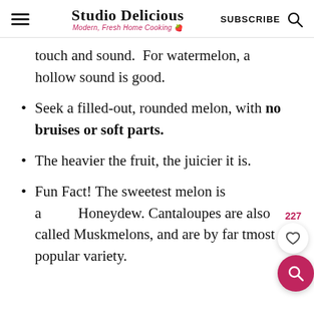Studio Delicious — Modern, Fresh Home Cooking | SUBSCRIBE
touch and sound.  For watermelon, a hollow sound is good.
Seek a filled-out, rounded melon, with no bruises or soft parts.
The heavier the fruit, the juicier it is.
Fun Fact! The sweetest melon is a Honeydew. Cantaloupes are also called Muskmelons, and are by far the most popular variety.